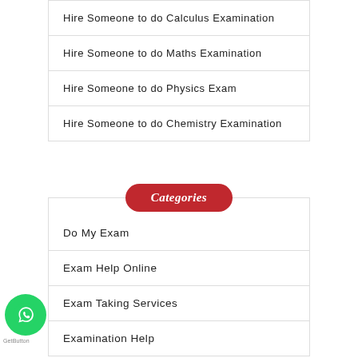Hire Someone to do Calculus Examination
Hire Someone to do Maths Examination
Hire Someone to do Physics Exam
Hire Someone to do Chemistry Examination
Categories
Do My Exam
Exam Help Online
Exam Taking Services
Examination Help